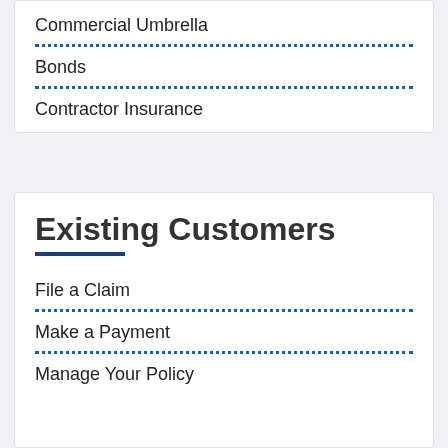Commercial Umbrella
Bonds
Contractor Insurance
Existing Customers
File a Claim
Make a Payment
Manage Your Policy